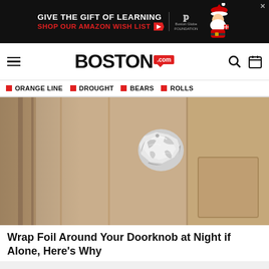[Figure (screenshot): Advertisement banner for Boston Globe Foundation: 'Give the Gift of Learning, Shop our Amazon Wish List' with a cartoon Santa figure on dark background]
BOSTON.com
ORANGE LINE
DROUGHT
BEARS
ROLLS
[Figure (photo): A door knob wrapped in crinkled aluminum foil on a beige/tan paneled door]
Wrap Foil Around Your Doorknob at Night if Alone, Here's Why